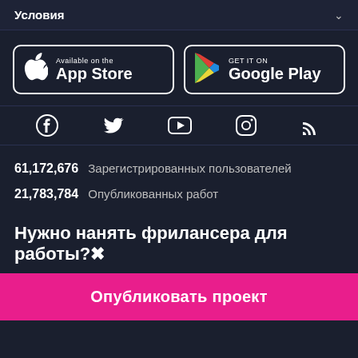Условия
[Figure (logo): App Store download button with Apple logo]
[Figure (logo): Google Play download button with Play logo]
[Figure (infographic): Social media icons: Facebook, Twitter, YouTube, Instagram, RSS]
61,172,676  Зарегистрированных пользователей
21,783,784  Опубликованных работ
Нужно нанять фрилансера для работы?✕
Опубликовать проект